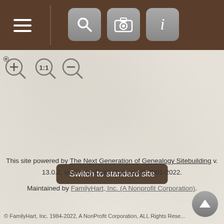Navigation bar with hamburger menu, search, camera, and info icons
[Figure (screenshot): Zoom controls: zoom-in (+), 1:1, zoom-out (-) icons]
Switch to standard site
This site powered by The Next Generation of Genealogy Sitebuilding v. 13.0.2, written by Darrin Lythgoe © 2001-2022.
Maintained by FamilyHart, Inc. (A Nonprofit Corporation).
© FamilyHart, Inc. 1984-2022, A NonProfit Corporation, ALL Rights Reserved